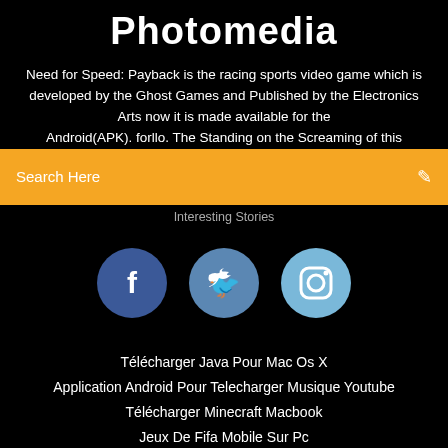Photomedia
Need for Speed: Payback is the racing sports video game which is developed by the Ghost Games and Published by the Electronics Arts now it is made available for the Android(APK). forllo. The Standing on the Screaming of this
Search Here
Interesting Stories
[Figure (infographic): Three social media icon circles: Facebook (dark blue), Twitter (medium blue), Instagram (light blue)]
Télécharger Java Pour Mac Os X
Application Android Pour Telecharger Musique Youtube
Télécharger Minecraft Macbook
Jeux De Fifa Mobile Sur Pc